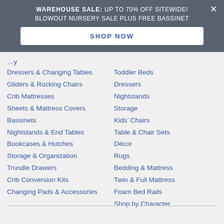WAREHOUSE SALE: UP TO 70% OFF SITEWIDE! BLOWOUT NURSERY SALE PLUS FREE BASSINET
Dressers & Changing Tables
Gliders & Rocking Chairs
Crib Mattresses
Sheets & Mattress Covers
Bassinets
Nightstands & End Tables
Bookcases & Hutches
Storage & Organization
Trundle Drawers
Crib Conversion Kits
Changing Pads & Accessories
Toddler Beds
Dressers
Nightstands
Storage
Kids' Chairs
Table & Chair Sets
Décor
Rugs
Bedding & Mattress
Twin & Full Mattress
Foam Bed Rails
Shop by Character